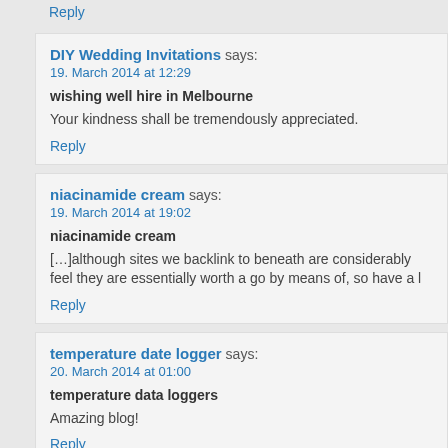Reply
DIY Wedding Invitations says:
19. March 2014 at 12:29

wishing well hire in Melbourne

Your kindness shall be tremendously appreciated.

Reply
niacinamide cream says:
19. March 2014 at 19:02

niacinamide cream

[...]although sites we backlink to beneath are considerably feel they are essentially worth a go by means of, so have a l

Reply
temperature date logger says:
20. March 2014 at 01:00

temperature data loggers

Amazing blog!

Reply